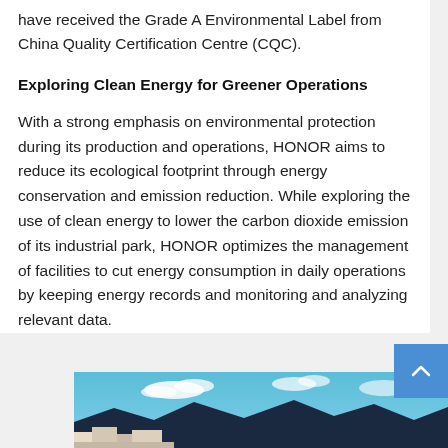have received the Grade A Environmental Label from China Quality Certification Centre (CQC).
Exploring Clean Energy for Greener Operations
With a strong emphasis on environmental protection during its production and operations, HONOR aims to reduce its ecological footprint through energy conservation and emission reduction. While exploring the use of clean energy to lower the carbon dioxide emission of its industrial park, HONOR optimizes the management of facilities to cut energy consumption in daily operations by keeping energy records and monitoring and analyzing relevant data.
[Figure (photo): Aerial or landscape photo of HONOR industrial park buildings against a blue sky with mountains in the background]